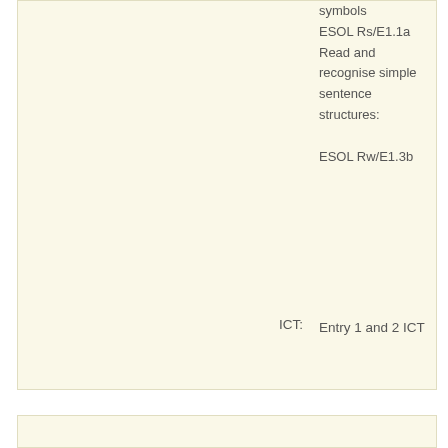symbols ESOL Rs/E1.1a Read and recognise simple sentence structures: ESOL Rw/E1.3b
ICT:
Entry 1 and 2 ICT